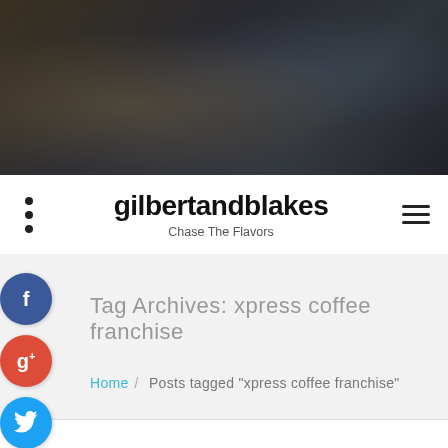[Figure (photo): Restaurant interior with dark dining tables, elegant chairs, and glassware set for service]
gilbertandblakes
Chase The Flavors
Tag Archives: xpress coffee franchise
Home / Posts tagged "xpress coffee franchise"